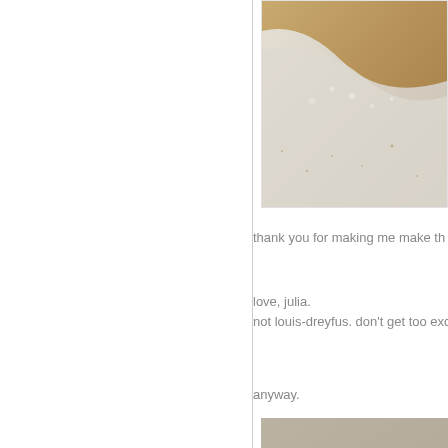[Figure (photo): Close-up photo of sandy beach with white sea foam/wave washing over sand, warm beige and white tones]
thank you for making me make th
love, julia.
not louis-dreyfus. don't get too exc
anyway.
[Figure (photo): Photo of something on a wooden surface, partially visible, blurred background]